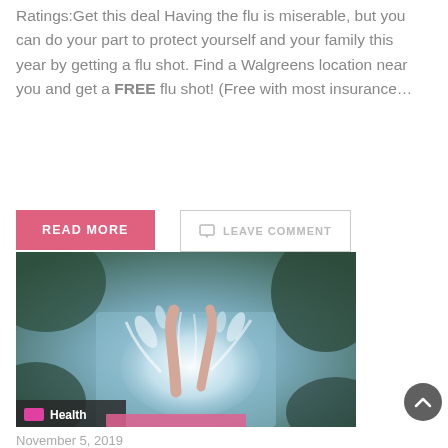Ratings:Get this deal Having the flu is miserable, but you can do your part to protect yourself and your family this year by getting a flu shot. Find a Walgreens location near you and get a FREE flu shot! (Free with most insurance…
READ MORE
LEAVE COMMENT
[Figure (photo): Person emerging from water with splash, tropical/nature background. Health category badge visible at bottom left.]
November 5, 2019